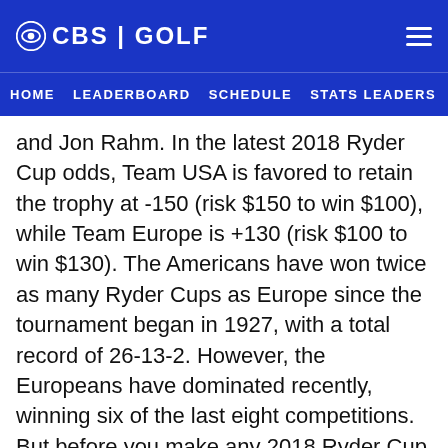CBS | GOLF
HOME   LEADERBOARD   SCHEDULE   STATS LEADERS   RANK
and Jon Rahm. In the latest 2018 Ryder Cup odds, Team USA is favored to retain the trophy at -150 (risk $150 to win $100), while Team Europe is +130 (risk $100 to win $130). The Americans have won twice as many Ryder Cups as Europe since the tournament began in 1927, with a total record of 26-13-2. However, the Europeans have dominated recently, winning six of the last eight competitions. But before you make any 2018 Ryder Cup picks, you'll want to hear what the team at SportsLine has to say.
SportsLine's prediction model, built by DFS pro Mike